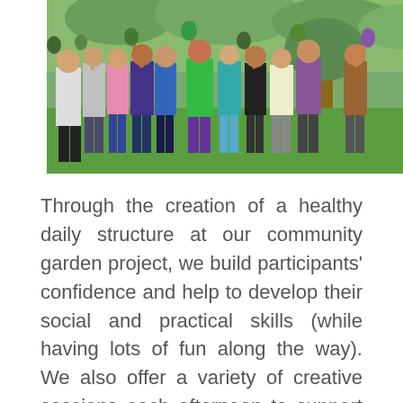[Figure (photo): Group photo of approximately 12 people standing outdoors on grass in front of trees, holding up objects, wearing colorful clothing.]
Through the creation of a healthy daily structure at our community garden project, we build participants' confidence and help to develop their social and practical skills (while having lots of fun along the way). We also offer a variety of creative sessions each afternoon to support the expansion of participants' experiences in addition to their integration into the Findhorn Ecovillage